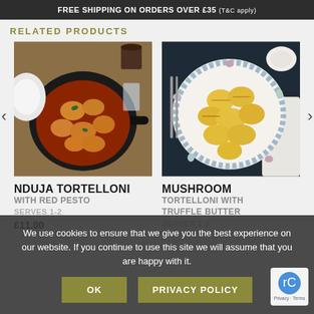FREE SHIPPING ON ORDERS OVER £35 (T&C apply)
RELATED PRODUCTS
[Figure (photo): Overhead photo of tortelloni pasta in a black pan with red pesto sauce, garnished with basil, on a wooden table with plates and a glass in the background]
[Figure (photo): Overhead photo of large mushroom tortelloni pasta on a decorative floral-rimmed white plate, on a dark surface with cutlery and a white napkin]
NDUJA TORTELLONI WITH RED PESTO
MUSHROOM TORTELLONI WITH TRUFFLE BUTTER
£11.00
We use cookies to ensure that we give you the best experience on our website. If you continue to use this site we will assume that you are happy with it.
OK
PRIVACY POLICY